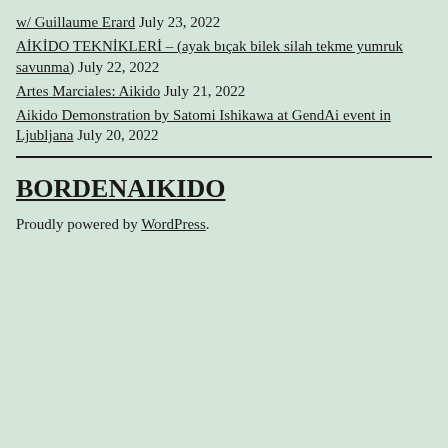w/ Guillaume Erard July 23, 2022
AİKİDO TEKNİKLERİ – (ayak bıçak bilek silah tekme yumruk savunma) July 22, 2022
Artes Marciales: Aikido July 21, 2022
Aikido Demonstration by Satomi Ishikawa at GendAi event in Ljubljana July 20, 2022
BORDENAIKIDO
Proudly powered by WordPress.